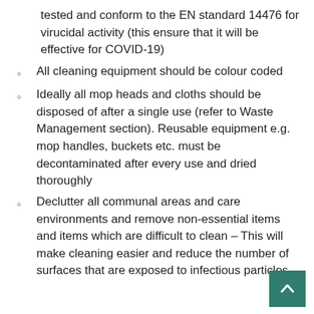tested and conform to the EN standard 14476 for virucidal activity (this ensure that it will be effective for COVID-19)
All cleaning equipment should be colour coded
Ideally all mop heads and cloths should be disposed of after a single use (refer to Waste Management section). Reusable equipment e.g. mop handles, buckets etc. must be decontaminated after every use and dried thoroughly
Declutter all communal areas and care environments and remove non-essential items and items which are difficult to clean – This will make cleaning easier and reduce the number of surfaces that are exposed to infectious particles